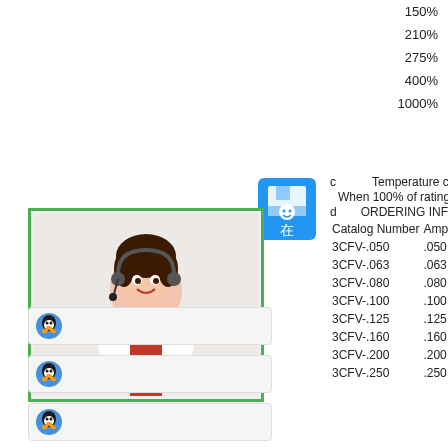150%
210%
275%
400%
1000%
[Figure (illustration): Blue save/disk icon with Chinese character 在]
[Figure (photo): Customer service woman wearing headset, smiling, in front of white background, inside green border]
[Figure (illustration): Small penguin icon button row 1]
[Figure (illustration): Small penguin icon button row 2]
[Figure (illustration): Small penguin icon button row 3]
c　　Temperature character
When 100% of rating the tempe
d　　ORDERING INFORMATIO
| Catalog Number | Ampere Rati |
| --- | --- |
| 3CFV-.050 | .050 |
| 3CFV-.063 | .063 |
| 3CFV-.080 | .080 |
| 3CFV-.100 | .100 |
| 3CFV-.125 | .125 |
| 3CFV-.160 | .160 |
| 3CFV-.200 | .200 |
| 3CFV-.250 | .250 |